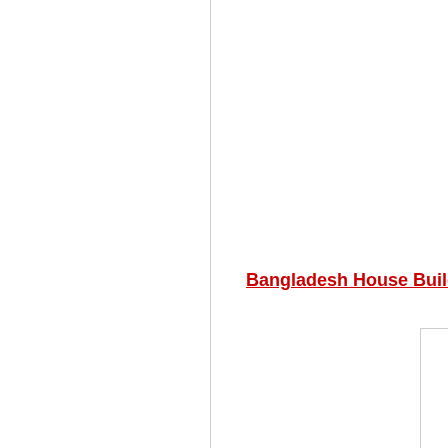Bangladesh House Building Finar